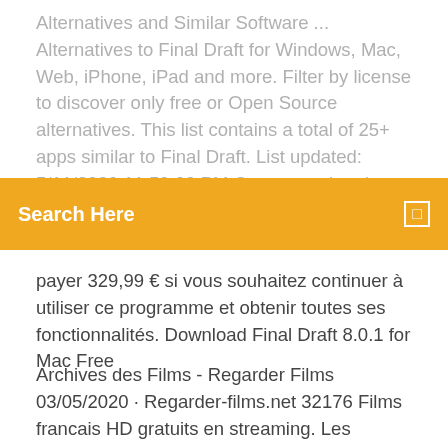Alternatives and Similar Software ... Alternatives to Final Draft for Windows, Mac, Web, iPhone, iPad and more. Filter by license to discover only free or Open Source alternatives. This list contains a total of 25+ apps similar to Final Draft. List updated: 5/11/2020 11:59:00 PM Comment obtenir Final Cut Pro gratuitement? | alternative... Comment avoir Final Cut Pro
[Figure (screenshot): Orange search bar with 'Search Here' text in white bold and a small icon on the right]
payer 329,99 € si vous souhaitez continuer à utiliser ce programme et obtenir toutes ses fonctionnalités. Download Final Draft 8.0.1 for Mac Free
Archives des Films - Regarder Films 03/05/2020 · Regarder-films.net 32176 Films francais HD gratuits en streaming. Les marques, noms commerciaux et logos figurant sur ce site sont des marques déposées par leur propriétaire respectif. Télécharger Finale Notepad - 01net.com - Telecharger.com